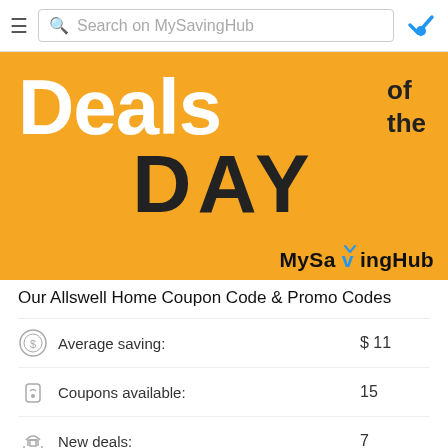Search on MySavingHub
[Figure (illustration): Deals of the Day banner with orange background showing 'Deals of the DAY' text and MySavingHub branding]
Our Allswell Home Coupon Code & Promo Codes
Average saving: $ 11
Coupons available: 15
New deals: 7